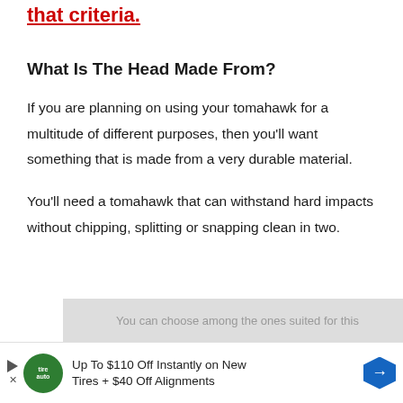that criteria.
What Is The Head Made From?
If you are planning on using your tomahawk for a multitude of different purposes, then you'll want something that is made from a very durable material.
You'll need a tomahawk that can withstand hard impacts without chipping, splitting or snapping clean in two.
[Figure (other): Partially visible gray advertisement block with blurred/obscured text]
[Figure (other): Advertisement banner: Up To $110 Off Instantly on New Tires + $40 Off Alignments, with TireAuto logo and blue directional arrow icon]